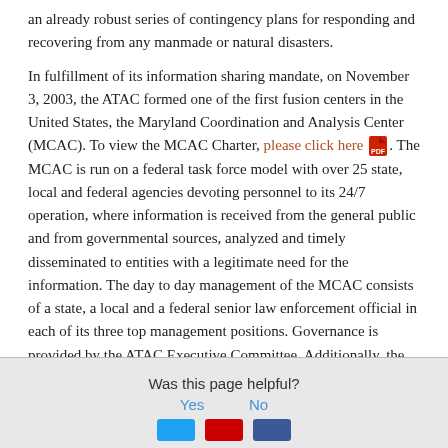an already robust series of contingency plans for responding and recovering from any manmade or natural disasters.
In fulfillment of its information sharing mandate, on November 3, 2003, the ATAC formed one of the first fusion centers in the United States, the Maryland Coordination and Analysis Center (MCAC). To view the MCAC Charter, please click here. The MCAC is run on a federal task force model with over 25 state, local and federal agencies devoting personnel to its 24/7 operation, where information is received from the general public and from governmental sources, analyzed and timely disseminated to entities with a legitimate need for the information. The day to day management of the MCAC consists of a state, a local and a federal senior law enforcement official in each of its three top management positions. Governance is provided by the ATAC Executive Committee. Additionally, the ATAC has a robust statewide training program, with attendances running as high as 400 persons.
Updated February 1, 2022
Was this page helpful?
Yes    No